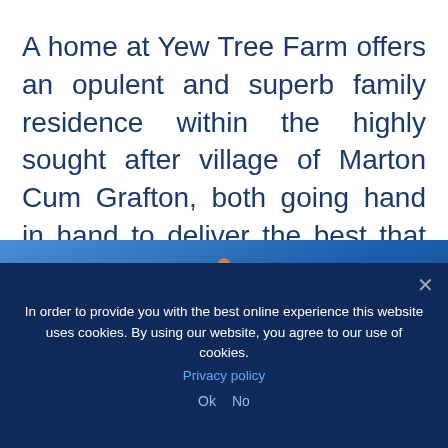A home at Yew Tree Farm offers an opulent and superb family residence within the highly sought after village of Marton Cum Grafton, both going hand in hand to deliver the best that country living has to offer.
[Figure (logo): Brierley Homes logo on a blue gradient background, featuring a white crown icon with orange dots above the word 'brierley' in white lowercase letters, and 'homes' below in lighter text.]
In order to provide you with the best online experience this website uses cookies. By using our website, you agree to our use of cookies. Privacy policy Ok No